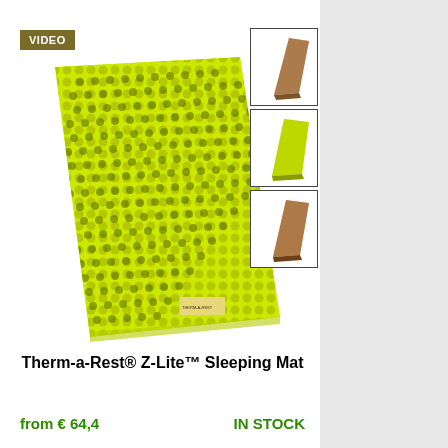[Figure (photo): A yellow-green Therm-a-Rest Z-Lite sleeping mat shown flat at an angle, with a textured foam surface featuring a pattern of small raised bumps, with a 'VIDEO' badge in the upper left corner]
[Figure (photo): Thumbnail image of brown/tan folded sleeping mat]
[Figure (photo): Thumbnail image of yellow-green folded sleeping mat]
[Figure (photo): Thumbnail image of brown folded sleeping mat]
Therm-a-Rest® Z-Lite™ Sleeping Mat
from € 64,4
IN STOCK